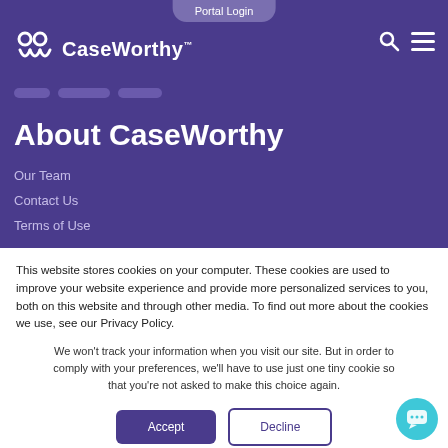Portal Login
[Figure (logo): CaseWorthy logo with CW icon and wordmark in white on purple background]
About CaseWorthy
Our Team
Contact Us
Terms of Use
This website stores cookies on your computer. These cookies are used to improve your website experience and provide more personalized services to you, both on this website and through other media. To find out more about the cookies we use, see our Privacy Policy.
We won't track your information when you visit our site. But in order to comply with your preferences, we'll have to use just one tiny cookie so that you're not asked to make this choice again.